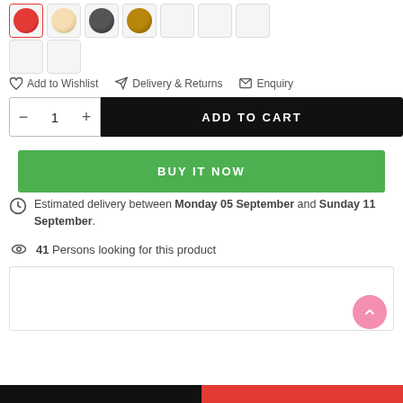[Figure (illustration): Row of product thumbnail swatches: red (active/selected with red border), blonde, dark/black, brown, and several empty/blank thumbnails in two rows]
Add to Wishlist
Delivery & Returns
Enquiry
− 1 +
ADD TO CART
BUY IT NOW
Estimated delivery between Monday 05 September and Sunday 11 September.
41 Persons looking for this product
[Figure (other): Empty bordered box (product info or description area)]